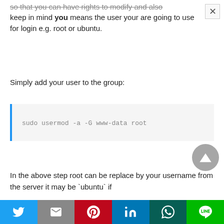so that you can have rights to modify and also keep in mind you means the user your are going to use for login e.g. root or ubuntu.
Simply add your user to the group:
sudo usermod -a -G www-data root
In the above step root can be replace by your username from the server it may be `ubuntu` if